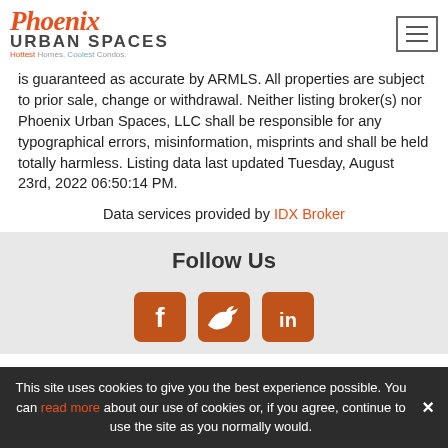[Figure (logo): Phoenix Urban Spaces logo with tagline 'Hottest Homes. Coolest Condos.']
is guaranteed as accurate by ARMLS. All properties are subject to prior sale, change or withdrawal. Neither listing broker(s) nor Phoenix Urban Spaces, LLC shall be responsible for any typographical errors, misinformation, misprints and shall be held totally harmless. Listing data last updated Tuesday, August 23rd, 2022 06:50:14 PM.
Data services provided by IDX Broker
Follow Us
[Figure (infographic): Social media icons: Facebook, Twitter, LinkedIn in orange/brown square boxes]
This site uses cookies to give you the best experience possible. You can read more about our use of cookies or, if you agree, continue to use the site as you normally would.